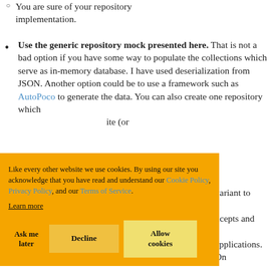You are sure of your repository implementation.
Use the generic repository mock presented here. That is not a bad option if you have some way to populate the collections which serve as in-memory database. I have used deserialization from JSON. Another option could be to use a framework such as AutoPoco to generate the data. You can also create one repository which … ite (or …
Like every other website we use cookies. By using our site you acknowledge that you have read and understand our Cookie Policy, Privacy Policy, and our Terms of Service. Learn more
… variant to … ncepts and … applications. On the other hand, for unit test, you might consider either